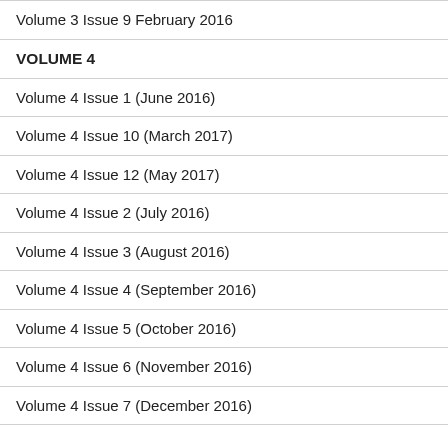Volume 3 Issue 9 February 2016
VOLUME 4
Volume 4 Issue 1 (June 2016)
Volume 4 Issue 10 (March 2017)
Volume 4 Issue 12 (May 2017)
Volume 4 Issue 2 (July 2016)
Volume 4 Issue 3 (August 2016)
Volume 4 Issue 4 (September 2016)
Volume 4 Issue 5 (October 2016)
Volume 4 Issue 6 (November 2016)
Volume 4 Issue 7 (December 2016)